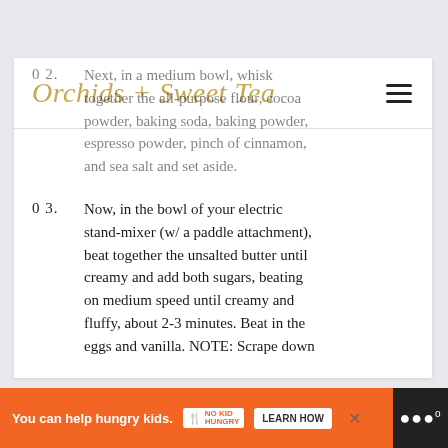Orchids + Sweet Tea
02. Next, in a medium bowl, whisk together the all-purpose flour, cocoa powder, baking soda, baking powder, espresso powder, pinch of cinnamon, and sea salt and set aside.
03. Now, in the bowl of your electric stand-mixer (w/ a paddle attachment), beat together the unsalted butter until creamy and add both sugars, beating on medium speed until creamy and fluffy, about 2-3 minutes. Beat in the eggs and vanilla. NOTE: Scrape down